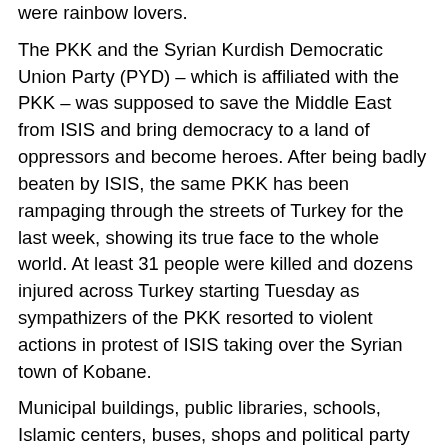were rainbow lovers. The PKK and the Syrian Kurdish Democratic Union Party (PYD) – which is affiliated with the PKK – was supposed to save the Middle East from ISIS and bring democracy to a land of oppressors and become heroes. After being badly beaten by ISIS, the same PKK has been rampaging through the streets of Turkey for the last week, showing its true face to the whole world. At least 31 people were killed and dozens injured across Turkey starting Tuesday as sympathizers of the PKK resorted to violent actions in protest of ISIS taking over the Syrian town of Kobane. Municipal buildings, public libraries, schools, Islamic centers, buses, shops and political party centers were torched by the PKK supporters. Due to the widespread violent protests in the Kurdish populated southeast of Turkey, a curfew was imposed starting from late on Tuesday. The military replaced the police in the cities under a 'state of emergency'. With these actions, the PKK was not punishing Turkey for not initially joining the